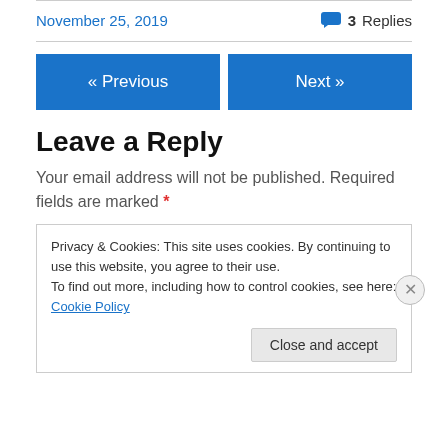November 25, 2019
3 Replies
« Previous
Next »
Leave a Reply
Your email address will not be published. Required fields are marked *
Privacy & Cookies: This site uses cookies. By continuing to use this website, you agree to their use.
To find out more, including how to control cookies, see here: Cookie Policy
Close and accept